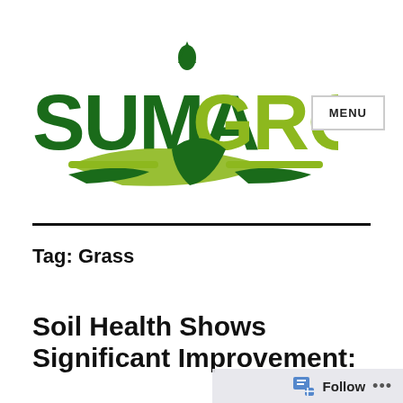[Figure (logo): SumaGrow logo with green lettering and leaf/plant graphic elements]
MENU
Tag: Grass
Soil Health Shows Significant Improvement: